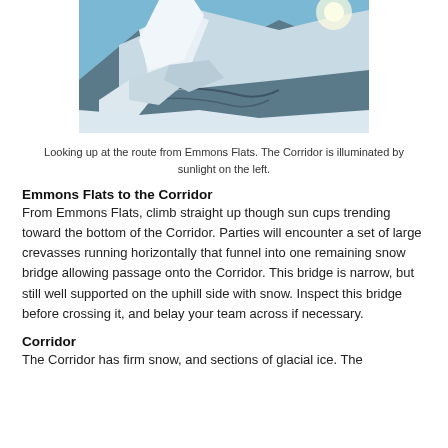[Figure (photo): Photograph looking up at a glaciated mountain route from Emmons Flats. A bright corridor of snow illuminated by sunlight is visible on the left side of the frame, with large crevasses and rocky terrain visible.]
Looking up at the route from Emmons Flats. The Corridor is illuminated by sunlight on the left.
Emmons Flats to the Corridor
From Emmons Flats, climb straight up though sun cups trending toward the bottom of the Corridor. Parties will encounter a set of large crevasses running horizontally that funnel into one remaining snow bridge allowing passage onto the Corridor. This bridge is narrow, but still well supported on the uphill side with snow. Inspect this bridge before crossing it, and belay your team across if necessary.
Corridor
The Corridor has firm snow, and sections of glacial ice. The